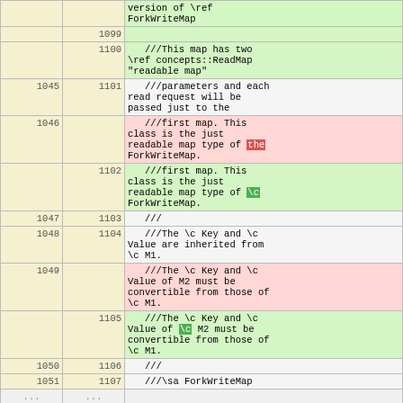| old | new | code |
| --- | --- | --- |
|  |  | version of \ref ForkWriteMap |
|  | 1099 |  |
|  | 1100 | ///This map has two \ref concepts::ReadMap "readable map" |
| 1045 | 1101 | ///parameters and each read request will be passed just to the |
| 1046 |  | ///first map. This class is the just readable map type of the ForkWriteMap. |
|  | 1102 | ///first map. This class is the just readable map type of \c ForkWriteMap. |
| 1047 | 1103 | /// |
| 1048 | 1104 | ///The \c Key and \c Value are inherited from \c M1. |
| 1049 |  | ///The \c Key and \c Value of M2 must be convertible from those of \c M1. |
|  | 1105 | ///The \c Key and \c Value of \c M2 must be convertible from those of \c M1. |
| 1050 | 1106 | /// |
| 1051 | 1107 | ///\sa ForkWriteMap |
| ... | ... |  |
| 1070 | 1126 | ///Applies all map setting operations to two maps |